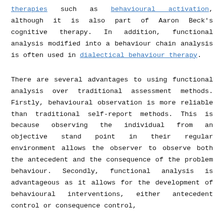therapies such as behavioural activation, although it is also part of Aaron Beck's cognitive therapy. In addition, functional analysis modified into a behaviour chain analysis is often used in dialectical behaviour therapy.
There are several advantages to using functional analysis over traditional assessment methods. Firstly, behavioural observation is more reliable than traditional self-report methods. This is because observing the individual from an objective stand point in their regular environment allows the observer to observe both the antecedent and the consequence of the problem behaviour. Secondly, functional analysis is advantageous as it allows for the development of behavioural interventions, either antecedent control or consequence control,